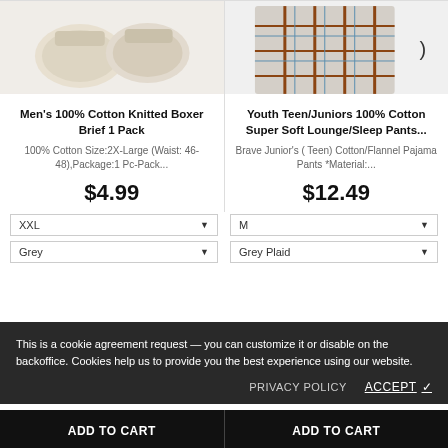[Figure (photo): Men's cotton boxer briefs product image - cream/beige colored fabric rolls/briefs]
[Figure (photo): Youth plaid flannel lounge/sleep pants product image - brown and blue plaid pattern]
Men's 100% Cotton Knitted Boxer Brief 1 Pack
Youth Teen/Juniors 100% Cotton Super Soft Lounge/Sleep Pants...
100% Cotton Size:2X-Large (Waist: 46-48),Package:1 Pc-Pack...
Brave Junior's ( Teen) Cotton/Flannel Pajama Pants *Material:...
$4.99
$12.49
XXL
M
Grey
Grey Plaid
This is a cookie agreement request — you can customize it or disable on the backoffice. Cookies help us to provide you the best experience using our website.
PRIVACY POLICY
ACCEPT ✓
ADD TO CART
ADD TO CART